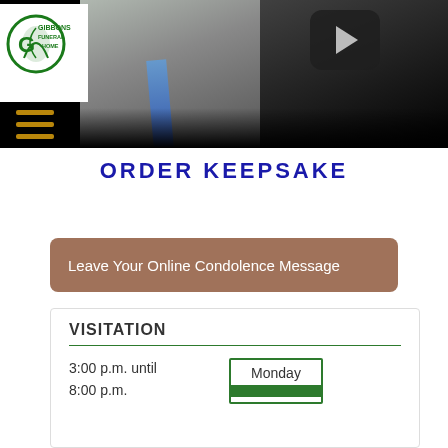[Figure (screenshot): Gibbons Funeral Home logo in upper left, video thumbnail showing a man in suit with play button overlay, dark background]
ORDER KEEPSAKE
Leave Your Online Condolence Message
VISITATION
3:00 p.m. until 8:00 p.m.
Monday